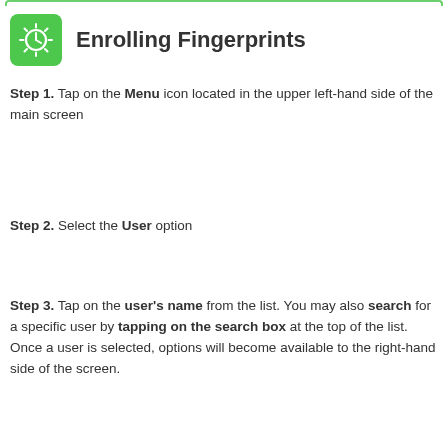Enrolling Fingerprints
Step 1. Tap on the Menu icon located in the upper left-hand side of the main screen
Step 2. Select the User option
Step 3. Tap on the user's name from the list. You may also search for a specific user by tapping on the search box at the top of the list. Once a user is selected, options will become available to the right-hand side of the screen.